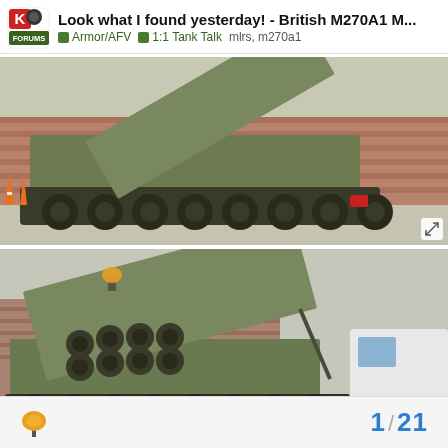Look what I found yesterday! - British M270A1 M... | Armor/AFV | 1:1 Tank Talk mlrs, m270a1
[Figure (photo): Rear view of a British M270A1 MLRS tracked military vehicle parked outside a brick building, showing the launcher pod raised, olive drab paint, with traffic cones visible in background]
[Figure (photo): Rear three-quarter view of British M270A1 MLRS with launcher pod elevated showing rocket tube openings, registration plate 48 AJ 99, parked in a yard with a white van visible in background]
1 / 21